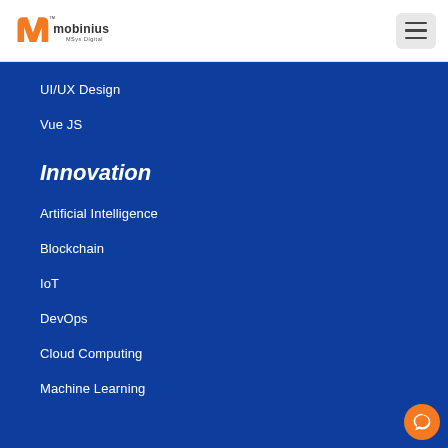[Figure (logo): Mobinius MSys Digital logo with orange stylized M icon and text]
UI/UX Design
Vue JS
Innovation
Artificial Intelligence
Blockchain
IoT
DevOps
Cloud Computing
Machine Learning